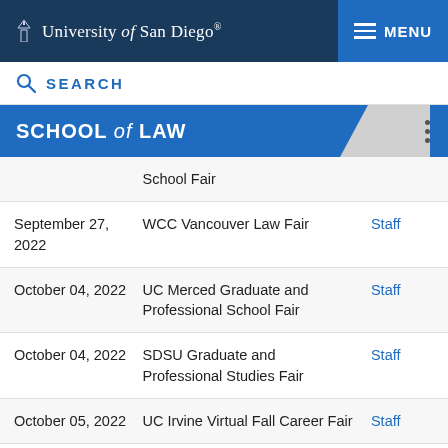University of San Diego | MENU
SEARCH
SCHOOL of LAW
| Date | Event | Type |
| --- | --- | --- |
|  | School Fair |  |
| September 27, 2022 | WCC Vancouver Law Fair | Staff |
| October 04, 2022 | UC Merced Graduate and Professional School Fair | Staff |
| October 04, 2022 | SDSU Graduate and Professional Studies Fair | Staff |
| October 05, 2022 | UC Irvine Virtual Fall Career Fair | Staff |